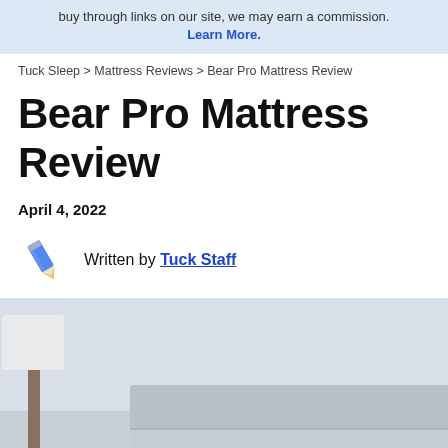buy through links on our site, we may earn a commission. Learn More.
Tuck Sleep > Mattress Reviews > Bear Pro Mattress Review
Bear Pro Mattress Review
April 4, 2022
Written by Tuck Staff
[Figure (photo): Bedroom photo showing a bed with grey upholstered headboard and a wooden floor lamp with white shade on the left side]